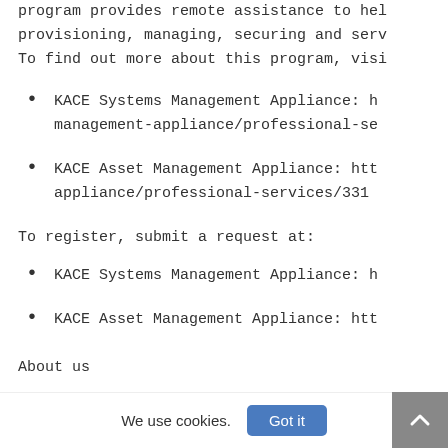program provides remote assistance to hel provisioning, managing, securing and serv To find out more about this program, visi
KACE Systems Management Appliance: h management-appliance/professional-se
KACE Asset Management Appliance: htt appliance/professional-services/331
To register, submit a request at:
KACE Systems Management Appliance: h
KACE Asset Management Appliance: htt
About us
We use cookies.